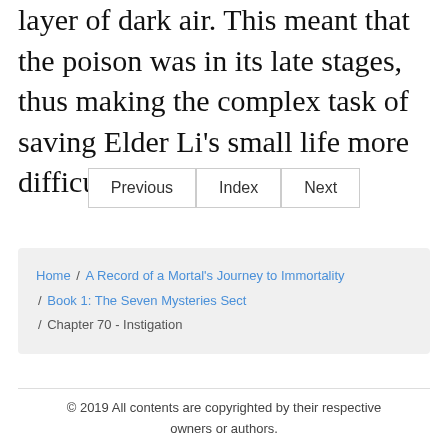layer of dark air. This meant that the poison was in its late stages, thus making the complex task of saving Elder Li’s small life more difficult.
Previous | Index | Next
Home / A Record of a Mortal’s Journey to Immortality / Book 1: The Seven Mysteries Sect / Chapter 70 - Instigation
© 2019 All contents are copyrighted by their respective owners or authors.